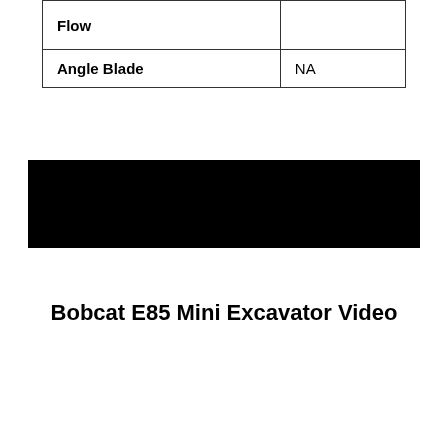| Flow |  |
| Angle Blade | NA |
[Figure (other): Black redacted bar covering a table row]
Bobcat E85 Mini Excavator Video